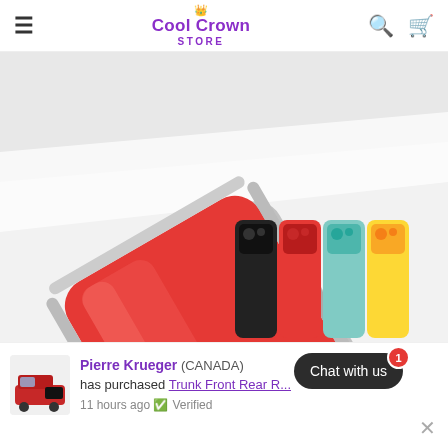Cool Crown STORE
[Figure (photo): Product photo of a red iPhone case shown at an angle on a white surface, with a white strip detail. In the bottom right corner, a row of phone cases in black, red, mint/teal, and yellow colors are shown side by side.]
Pierre Krueger (CANADA) has purchased Trunk Front Rear... 11 hours ago ✓ Verified
Chat with us